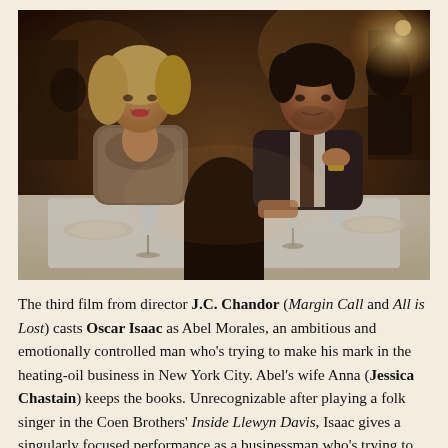[Figure (photo): A dark restaurant dinner scene with a blonde woman in a sparkly jacket on the left and a dark-haired man in a suit gesturing on the right, seated at a formal white-tablecloth dining table with wine glasses.]
The third film from director J.C. Chandor (Margin Call and All is Lost) casts Oscar Isaac as Abel Morales, an ambitious and emotionally controlled man who's trying to make his mark in the heating-oil business in New York City. Abel's wife Anna (Jessica Chastain) keeps the books. Unrecognizable after playing a folk singer in the Coen Brothers' Inside Llewyn Davis, Isaac gives a singularly focused performance as a businessman who's trying to be as straight as he can in an industry rife with corruption. Chastain makes a major stretch as a Mafia princess who sometimes wishes her